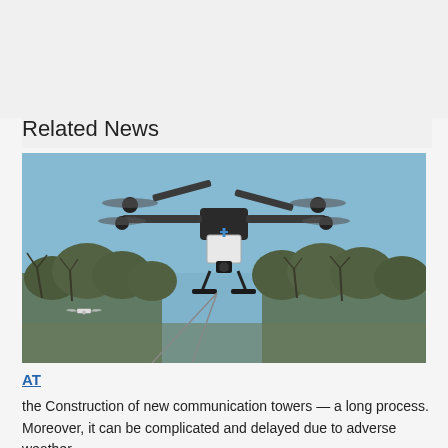Related News
[Figure (photo): A large quadcopter drone with equipment hanging below it flying against a blue sky, with bare trees in the background; a smaller white drone visible lower left.]
AT
the Construction of new communication towers — a long process. Moreover, it can be complicated and delayed due to adverse weather